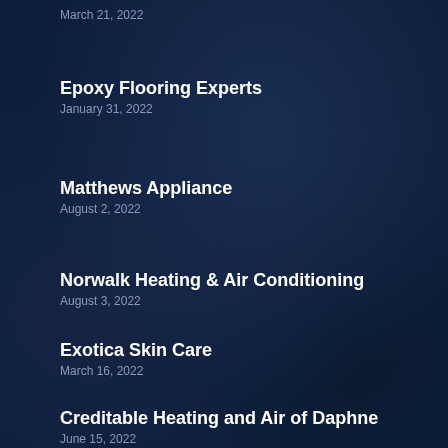March 21, 2022
Epoxy Flooring Experts
January 31, 2022
Matthews Appliance
August 2, 2022
Norwalk Heating & Air Conditioning
August 3, 2022
Exotica Skin Care
March 16, 2022
Creditable Heating and Air of Daphne
June 15, 2022